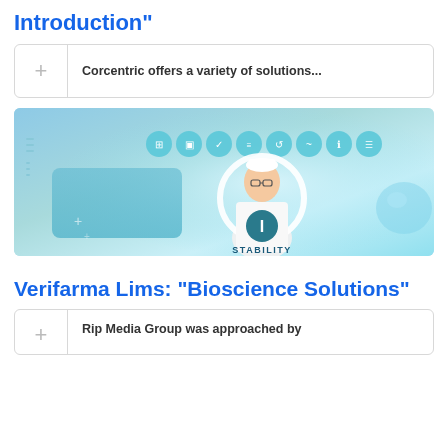Introduction"
Corcentric offers a variety of solutions...
[Figure (illustration): Screenshot/illustration of a pharmaceutical/bioscience animated video showing a cartoon doctor character with the word STABILITY on his outfit, surrounded by teal circular UI icons along the top, and a teal interface panel on the left side. Background is light blue.]
Verifarma Lims: "Bioscience Solutions"
Rip Media Group was approached by